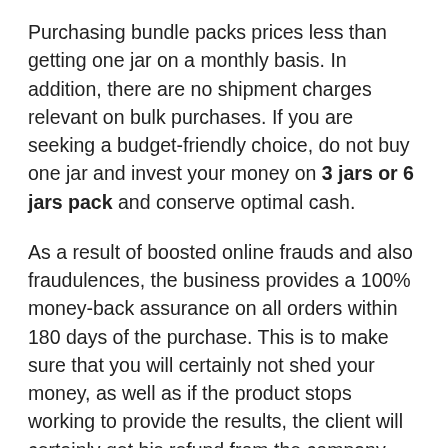Purchasing bundle packs prices less than getting one jar on a monthly basis. In addition, there are no shipment charges relevant on bulk purchases. If you are seeking a budget-friendly choice, do not buy one jar and invest your money on 3 jars or 6 jars pack and conserve optimal cash.
As a result of boosted online frauds and also fraudulences, the business provides a 100% money-back assurance on all orders within 180 days of the purchase. This is to make sure that you will certainly not shed your money, as well as if the product stops working to provide the results, the client will certainly get his refund from the company.